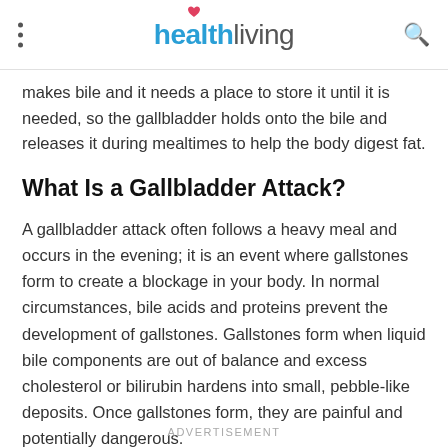health living
makes bile and it needs a place to store it until it is needed, so the gallbladder holds onto the bile and releases it during mealtimes to help the body digest fat.
What Is a Gallbladder Attack?
A gallbladder attack often follows a heavy meal and occurs in the evening; it is an event where gallstones form to create a blockage in your body. In normal circumstances, bile acids and proteins prevent the development of gallstones. Gallstones form when liquid bile components are out of balance and excess cholesterol or bilirubin hardens into small, pebble-like deposits. Once gallstones form, they are painful and potentially dangerous.
ADVERTISEMENT